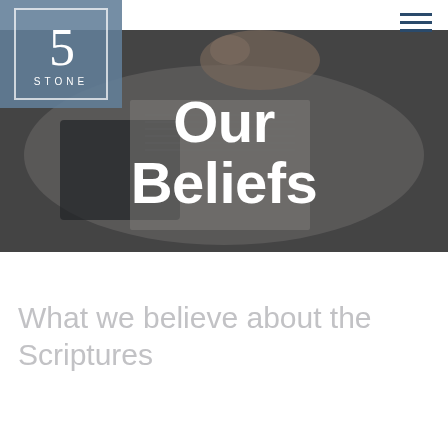[Figure (photo): Background photo of open Bible with hands, dark overlay. Logo of '5 Stone' church in upper left with hamburger menu icon in upper right.]
Our Beliefs
What we believe about the Scriptures